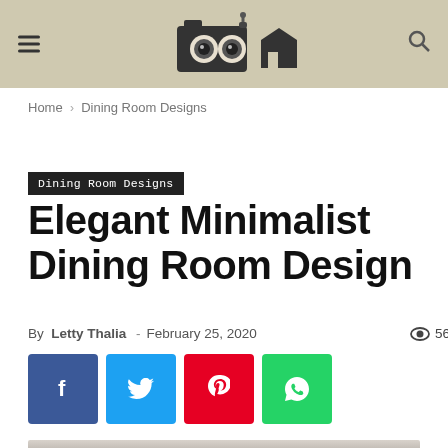Dining Room Designs (website header with logo)
Home › Dining Room Designs
Dining Room Designs
Elegant Minimalist Dining Room Design
By Letty Thalia - February 25, 2020  569
[Figure (other): Social share buttons: Facebook, Twitter, Pinterest, WhatsApp]
[Figure (photo): Elegant minimalist dining room interior with chandelier and curtains]